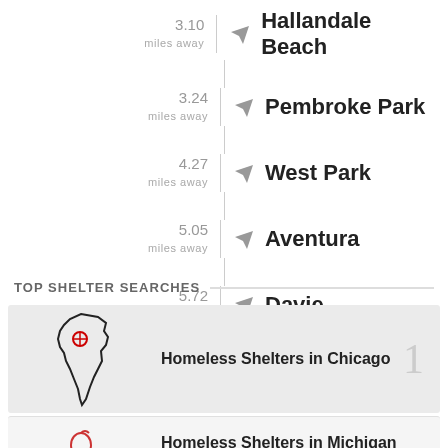3.10 miles away — Hallandale Beach
3.24 miles away — Pembroke Park
4.27 miles away — West Park
5.05 miles away — Aventura
5.72 miles away — Davie
6.52 miles away — Sunny Isles Beach
TOP SHELTER SEARCHES
Homeless Shelters in Chicago
Homeless Shelters in Michigan